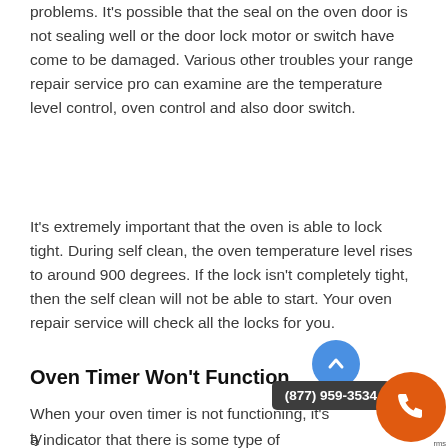problems. It's possible that the seal on the oven door is not sealing well or the door lock motor or switch have come to be damaged. Various other troubles your range repair service pro can examine are the temperature level control, oven control and also door switch.
It's extremely important that the oven is able to lock tight. During self clean, the oven temperature level rises to around 900 degrees. If the lock isn't completely tight, then the self clean will not be able to start. Your oven repair service will check all the locks for you.
Oven Timer Won't Function
When your oven timer is not functioning, it's ty... a indicator that there is some type of concern with